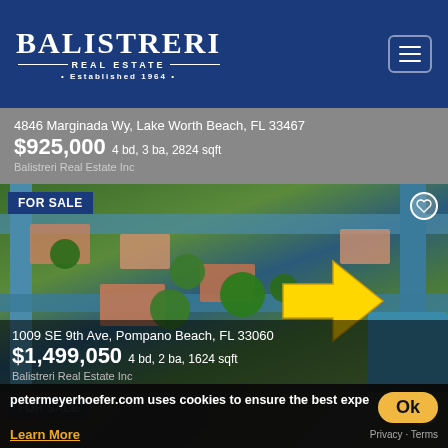[Figure (logo): Balistreri Real Estate logo on dark blue header with hamburger menu button]
4846 Marginada Wy, Lake Worth Beach, FL 33467
$925,000 4 bd, 3 ba, 2824 sqft
Balistreri Real Estate Inc
[Figure (photo): Aerial view of waterfront property at 1009 SE 9th Ave, Pompano Beach, FL 33060 with yellow arrow pointing to property. FOR SALE badge top left.]
1009 SE 9th Ave, Pompano Beach, FL 33060
$1,499,050 4 bd, 2 ba, 1624 sqft
Balistreri Real Estate Inc
[Figure (photo): Interior photo of property with FOR SALE badge]
petermeyerhoefer.com uses cookies to ensure the best expe
Ok
Learn More
Privacy · Terms